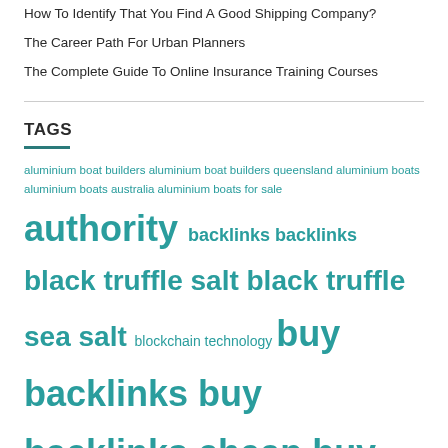How To Identify That You Find A Good Shipping Company?
The Career Path For Urban Planners
The Complete Guide To Online Insurance Training Courses
TAGS
aluminium boat builders aluminium boat builders queensland aluminium boats aluminium boats australia aluminium boats for sale authority backlinks backlinks black truffle salt black truffle sea salt blockchain technology buy backlinks buy backlinks cheap buy quality backlinks carpet cleaning dental care dentist digital marketing agency